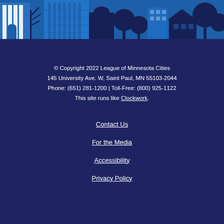[Figure (illustration): City skyline illustration with buildings, trees, and architectural silhouettes in blue and white tones on a blue background]
© Copyright 2022 League of Minnesota Cities
145 University Ave. W, Saint Paul, MN 55103-2044
Phone: (651) 281-1200 | Toll-Free: (800) 925-1122
This site runs like Clockwork.
Contact Us
For the Media
Accessibility
Privacy Policy